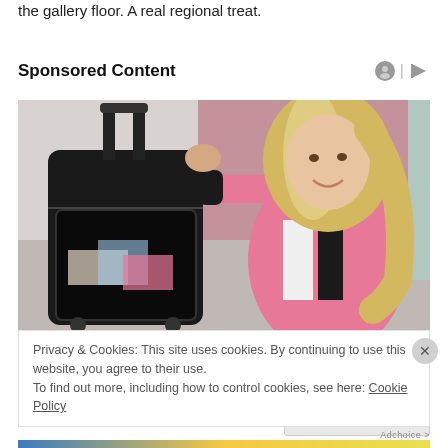the gallery floor. A real regional treat.
Sponsored Content
[Figure (photo): Advertisement photo showing a blonde woman in pink workout attire posing with a black rolling suitcase/luggage bag with a clear front pocket.]
Privacy & Cookies: This site uses cookies. By continuing to use this website, you agree to their use.
To find out more, including how to control cookies, see here: Cookie Policy
Close and accept